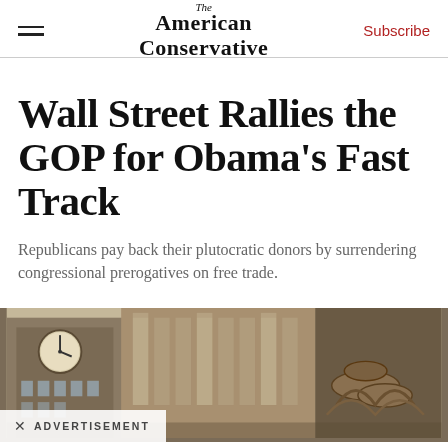The American Conservative | Subscribe
Wall Street Rallies the GOP for Obama's Fast Track
Republicans pay back their plutocratic donors by surrendering congressional prerogatives on free trade.
[Figure (photo): Street scene photo showing a building with columns and a clock tower, with ornate metal decorative elements in the foreground, suggesting a Wall Street or financial district setting.]
× ADVERTISEMENT